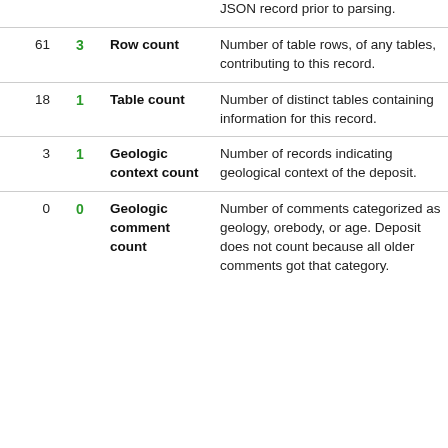|  |  | Field | Description |
| --- | --- | --- | --- |
|  |  |  | JSON record prior to parsing. |
| 61 | 3 | Row count | Number of table rows, of any tables, contributing to this record. |
| 18 | 1 | Table count | Number of distinct tables containing information for this record. |
| 3 | 1 | Geologic context count | Number of records indicating geological context of the deposit. |
| 0 | 0 | Geologic comment count | Number of comments categorized as geology, orebody, or age. Deposit does not count because all older comments got that category. |